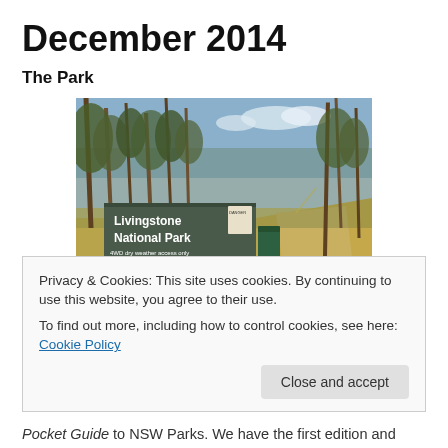December 2014
The Park
[Figure (photo): Photo of Livingstone National Park entrance sign. A dark green/grey wooden sign reads 'Livingstone National Park' with text below: '4WD dry weather access only, Keep to authorised tracks only, Dogs, Firearms and the collection of firewood is prohibited. Enquiries to Tumut office 02 69477000'. Behind the sign are Australian eucalyptus trees, dry grass, and a dirt road. A red X and No Dogs symbol are visible at the bottom of the sign.]
Privacy & Cookies: This site uses cookies. By continuing to use this website, you agree to their use.
To find out more, including how to control cookies, see here: Cookie Policy
Pocket Guide to NSW Parks. We have the first edition and